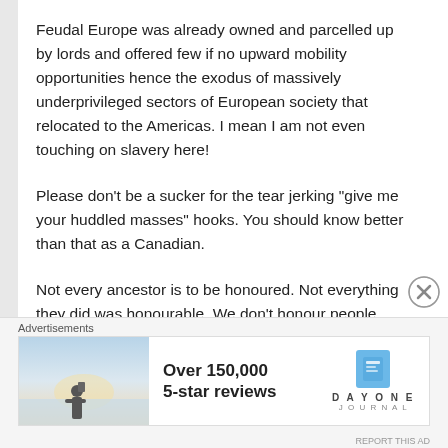Feudal Europe was already owned and parcelled up by lords and offered few if no upward mobility opportunities hence the exodus of massively underprivileged sectors of European society that relocated to the Americas. I mean I am not even touching on slavery here!
Please don't be a sucker for the tear jerking "give me your huddled masses" hooks. You should know better than that as a Canadian.
Not every ancestor is to be honoured. Not everything they did was honourable. We don't honour people simply because they came and shlubbed about this Earth before us. We honour
Advertisements
[Figure (photo): Advertisement banner: photo of person taking a photo at sunset on left, text 'Over 150,000 5-star reviews' in center, Day One Journal logo on right]